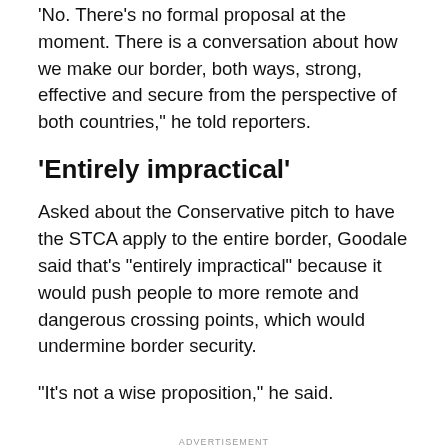'No. There's no formal proposal at the moment. There is a conversation about how we make our border, both ways, strong, effective and secure from the perspective of both countries,' he told reporters.
'Entirely impractical'
Asked about the Conservative pitch to have the STCA apply to the entire border, Goodale said that's "entirely impractical" because it would push people to more remote and dangerous crossing points, which would undermine border security.
"It's not a wise proposition," he said.
ADVERTISEMENT
The STCA requires asylum seekers to make their claim